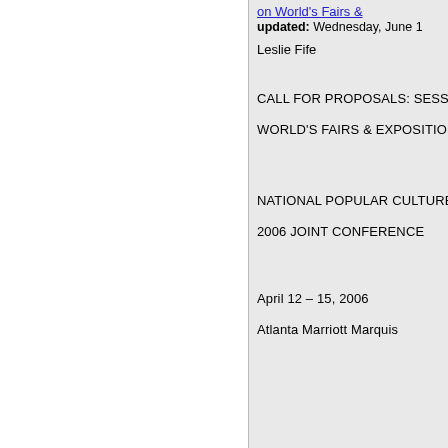on World's Fairs &...
updated: Wednesday, June 1
Leslie Fife
CALL FOR PROPOSALS: SESSI...
WORLD'S FAIRS & EXPOSITION...
NATIONAL POPULAR CULTURE...
2006 JOINT CONFERENCE
April 12 – 15, 2006
Atlanta Marriott Marquis